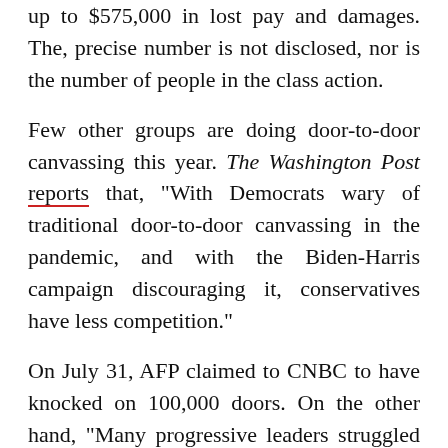up to $575,000 in lost pay and damages. The, precise number is not disclosed, nor is the number of people in the class action.
Few other groups are doing door-to-door canvassing this year. The Washington Post reports that, "With Democrats wary of traditional door-to-door canvassing in the pandemic, and with the Biden-Harris campaign discouraging it, conservatives have less competition."
On July 31, AFP claimed to CNBC to have knocked on 100,000 doors. On the other hand, "Many progressive leaders struggled to name any major national organizations on the left engaged in canvassing and said that, by and large, their supporters understood that doing so was a bad idea at this time," the Fort-Worth Star-Telegram reported.
Photo credit: @TimPhillipsAFP